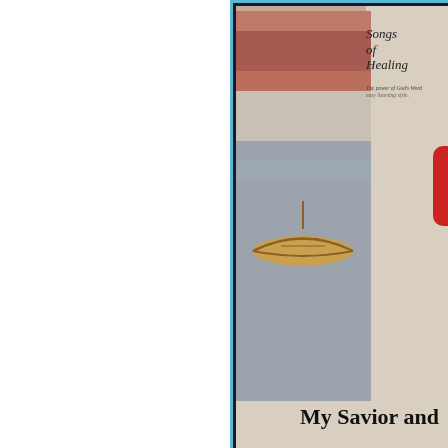[Figure (screenshot): A YouTube video thumbnail screenshot showing an album cover for 'Songs of Healing' with a canoe on water and pinkish sky. The cover has italic text 'Songs of Healing' and smaller text 'The power of God's Word in easy listening style.' Below the album image is a dark bar with 'Watch on YouTube' text and logo.]
[Figure (other): Green music note emoji/icon on white background]
[Figure (other): Dark circular play button icon on white background]
My Savior and